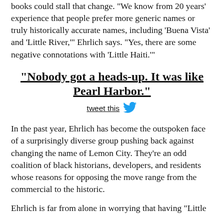books could stall that change. "We know from 20 years' experience that people prefer more generic names or truly historically accurate names, including 'Buena Vista' and 'Little River,'" Ehrlich says. "Yes, there are some negative connotations with 'Little Haiti.'"
"Nobody got a heads-up. It was like Pearl Harbor."
tweet this
In the past year, Ehrlich has become the outspoken face of a surprisingly diverse group pushing back against changing the name of Lemon City. They're an odd coalition of black historians, developers, and residents whose reasons for opposing the move range from the commercial to the historic.
Ehrlich is far from alone in worrying that having "Little